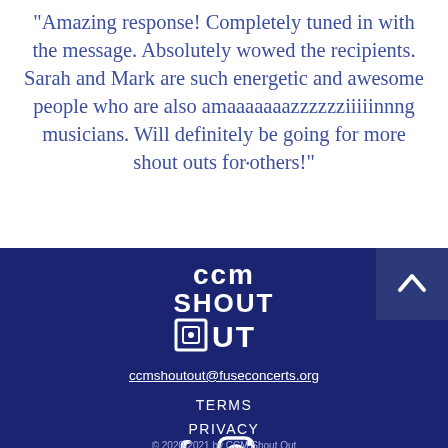"Amazing response! Completely tuned in with the message. Absolutely wowed the recipients. Sarah and Mark are such energetic and awesome people who are also amaaaaaaazzzzzziiiiinnng musicians. Will definitely be going for more shout outs for•others!"
[Figure (logo): CCM Shout Out logo in white on dark blue background, with stylized text 'ccm SHOUT OUT' and a phone/speaker icon for the letter O]
ccmshoutout@fuseconcerts.org
TERMS
PRIVACY
[Figure (illustration): Facebook and Instagram social media icons in white]
© 2020-2021 by CCM Shout Out